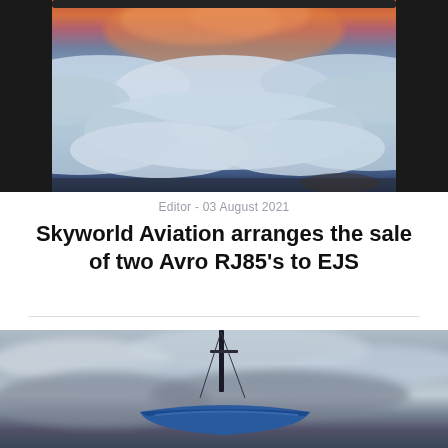[Figure (photo): View from airplane window showing clouds at sunset with orange and pink sky above dense cloud layer, dark window frame visible on sides]
Editor - 03 August 2021
Skyworld Aviation arranges the sale of two Avro RJ85’s to EJS
[Figure (photo): Sailboat with blue hull and tall mast against dramatic overcast cloudy grey sky]